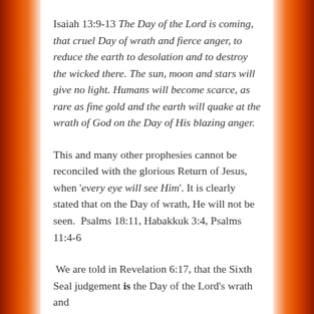Isaiah 13:9-13 The Day of the Lord is coming, that cruel Day of wrath and fierce anger, to reduce the earth to desolation and to destroy the wicked there. The sun, moon and stars will give no light. Humans will become scarce, as rare as fine gold and the earth will quake at the wrath of God on the Day of His blazing anger.
This and many other prophesies cannot be reconciled with the glorious Return of Jesus, when 'every eye will see Him'. It is clearly stated that on the Day of wrath, He will not be seen. Psalms 18:11, Habakkuk 3:4, Psalms 11:4-6
We are told in Revelation 6:17, that the Sixth Seal judgement is the Day of the Lord's wrath and